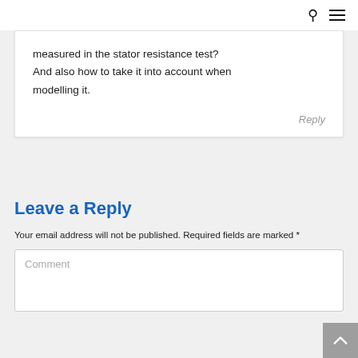measured in the stator resistance test? And also how to take it into account when modelling it.
Reply
Leave a Reply
Your email address will not be published. Required fields are marked *
Comment